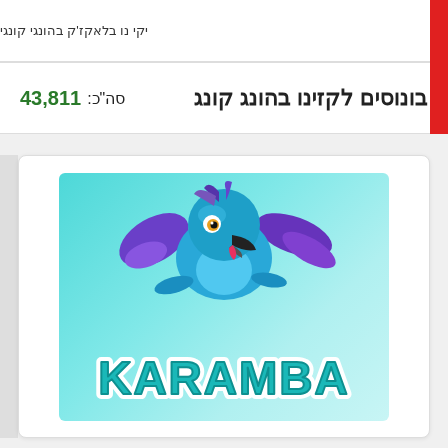יקי נו בלאקז'ק בהונגי קונגי
בונוסים לקזינו בהונג קונג
סה"כ: 43,811
[Figure (logo): Karamba casino logo featuring a blue and purple parrot mascot above the text KARAMBA on a teal/cyan gradient background]